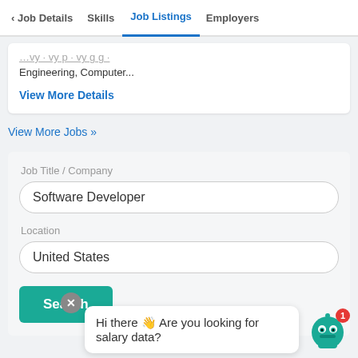Job Details | Skills | Job Listings | Employers
Engineering, Computer...
View More Details
View More Jobs »
Job Title / Company
Software Developer
Location
United States
Search
Hi there 🤖 Are you looking for salary data?